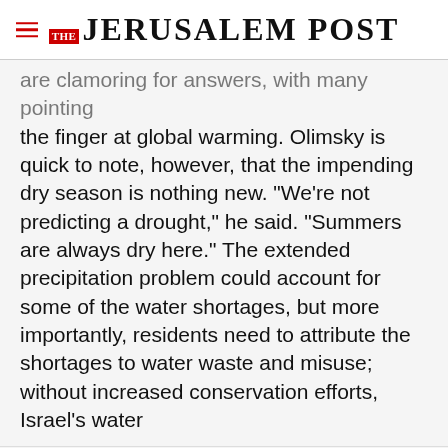THE JERUSALEM POST
are clamoring for answers, with many pointing the finger at global warming. Olimsky is quick to note, however, that the impending dry season is nothing new. "We're not predicting a drought," he said. "Summers are always dry here." The extended precipitation problem could account for some of the water shortages, but more importantly, residents need to attribute the shortages to water waste and misuse; without increased conservation efforts, Israel's water
Advertisement